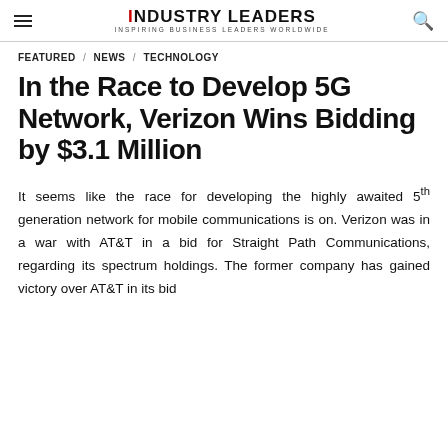INDUSTRY LEADERS — INSPIRING BUSINESS LEADERS WORLDWIDE
FEATURED / NEWS / TECHNOLOGY
In the Race to Develop 5G Network, Verizon Wins Bidding by $3.1 Million
It seems like the race for developing the highly awaited 5th generation network for mobile communications is on. Verizon was in a war with AT&T in a bid for Straight Path Communications, regarding its spectrum holdings. The former company has gained victory over AT&T in its bid